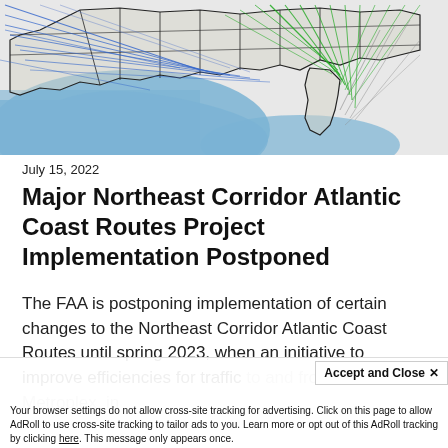[Figure (map): FAA Northeast Corridor Atlantic Coast Routes map showing flight paths over the eastern United States and Gulf of Mexico. Blue and green diagonal lines represent air routes overlaid on a map with black state/region outlines and blue shading over ocean/gulf areas.]
July 15, 2022
Major Northeast Corridor Atlantic Coast Routes Project Implementation Postponed
The FAA is postponing implementation of certain changes to the Northeast Corridor Atlantic Coast Routes until spring 2023, when an initiative to improve efficiencies for traffic to and from the Florida Metroplex, in culminate
Accept and Close ×
Your browser settings do not allow cross-site tracking for advertising. Click on this page to allow AdRoll to use cross-site tracking to tailor ads to you. Learn more or opt out of this AdRoll tracking by clicking here. This message only appears once.